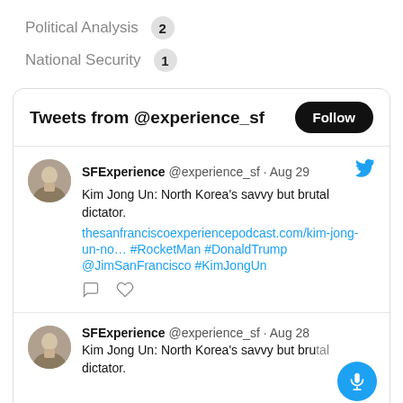Political Analysis  2
National Security  1
Tweets from @experience_sf
SFExperience @experience_sf · Aug 29
Kim Jong Un: North Korea's savvy but brutal dictator.
thesanfranciscoexperiencepodcast.com/kim-jong-un-no… #RocketMan #DonaldTrump @JimSanFrancisco #KimJongUn
SFExperience @experience_sf · Aug 28
Kim Jong Un: North Korea's savvy but brutal dictator.